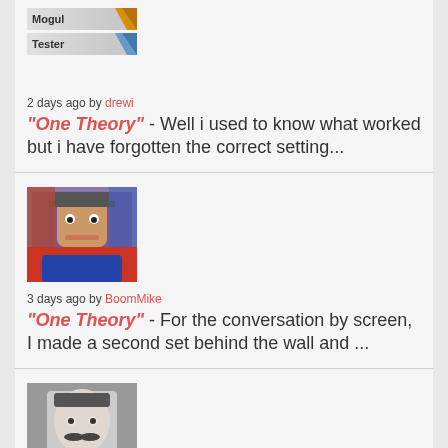[Figure (illustration): User avatar with Mogul and Tester badge labels]
2 days ago by drewi
"One Theory" - Well i used to know what worked but i have forgotten the correct setting...
[Figure (photo): User avatar photo showing a person]
3 days ago by BoomMike
"One Theory" - For the conversation by screen, I made a second set behind the wall and ...
[Figure (photo): User avatar photo of a man with mustache, with Mogul and Tester badge labels]
3 days ago by drewi
"One Theory" - Wonderful craft...scene work exemplary. What are you using to get an ...